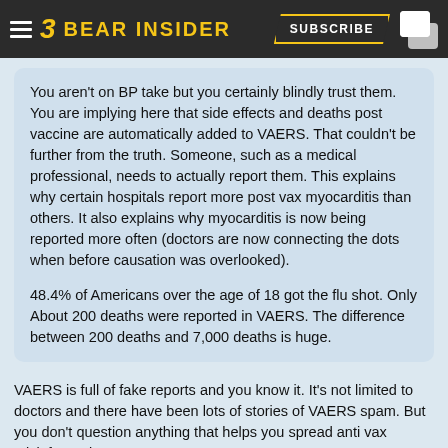BEAR INSIDER — SUBSCRIBE
You aren't on BP take but you certainly blindly trust them. You are implying here that side effects and deaths post vaccine are automatically added to VAERS. That couldn't be further from the truth. Someone, such as a medical professional, needs to actually report them. This explains why certain hospitals report more post vax myocarditis than others. It also explains why myocarditis is now being reported more often (doctors are now connecting the dots when before causation was overlooked).

48.4% of Americans over the age of 18 got the flu shot. Only About 200 deaths were reported in VAERS. The difference between 200 deaths and 7,000 deaths is huge.
VAERS is full of fake reports and you know it. It's not limited to doctors and there have been lots of stories of VAERS spam. But you don't question anything that helps you spread anti vax misinformation.

The abuse of VAERS has been shameful.